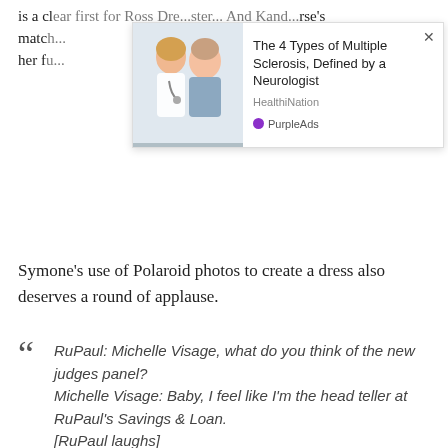is a cl...first for Ross Dre...ster... And Kand...rse's match...nted her fu...
[Figure (screenshot): Advertisement overlay showing a doctor and patient image with text 'The 4 Types of Multiple Sclerosis, Defined by a Neurologist' from HealthiNation, branded with PurpleAds]
Symone's use of Polaroid photos to create a dress also deserves a round of applause.
RuPaul: Michelle Visage, what do you think of the new judges panel? Michelle Visage: Baby, I feel like I'm the head teller at RuPaul's Savings & Loan. [RuPaul laughs] Michelle Visage: Wanna make a deposit? [Michelle makes a gesture and everyone laughs]